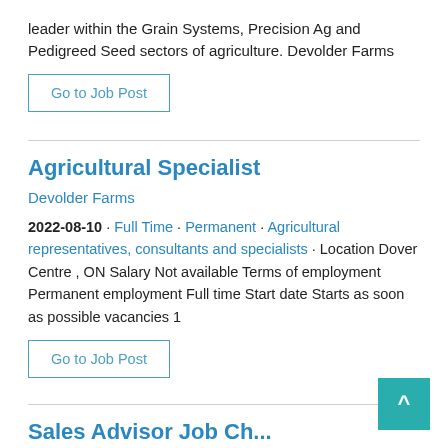leader within the Grain Systems, Precision Ag and Pedigreed Seed sectors of agriculture. Devolder Farms
Go to Job Post
Agricultural Specialist
Devolder Farms
2022-08-10 · Full Time · Permanent · Agricultural representatives, consultants and specialists · Location Dover Centre , ON Salary Not available Terms of employment Permanent employment Full time Start date Starts as soon as possible vacancies 1
Go to Job Post
Sales Advisor Job Ch...